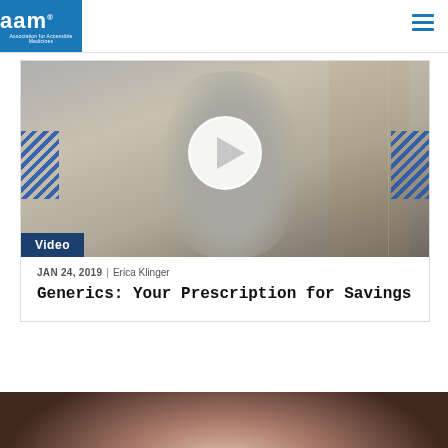AAM - Association for Accessible Medicines
[Figure (screenshot): Video thumbnail showing a woman in a home setting with a play button overlay, labeled 'Video']
JAN 24, 2019 | Erica Klinger
Generics: Your Prescription for Savings
[Figure (photo): Partial photo at bottom of page, close-up image]